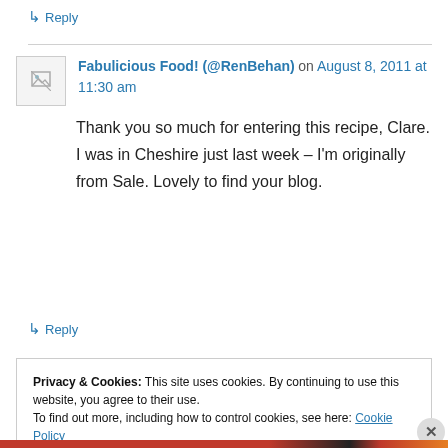↳ Reply
Fabulicious Food! (@RenBehan) on August 8, 2011 at 11:30 am
Thank you so much for entering this recipe, Clare. I was in Cheshire just last week – I'm originally from Sale. Lovely to find your blog.
↳ Reply
Privacy & Cookies: This site uses cookies. By continuing to use this website, you agree to their use. To find out more, including how to control cookies, see here: Cookie Policy
Close and accept